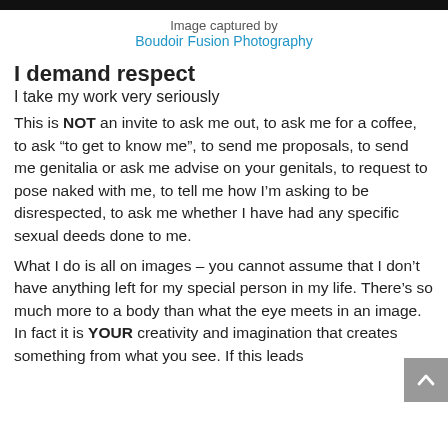Image captured by
Boudoir Fusion Photography
I demand respect
I take my work very seriously
This is NOT an invite to ask me out, to ask me for a coffee, to ask “to get to know me”, to send me proposals, to send me genitalia or ask me advise on your genitals, to request to pose naked with me, to tell me how I’m asking to be disrespected, to ask me whether I have had any specific sexual deeds done to me.
What I do is all on images – you cannot assume that I don’t have anything left for my special person in my life. There’s so much more to a body than what the eye meets in an image.
In fact it is YOUR creativity and imagination that creates something from what you see. If this leads